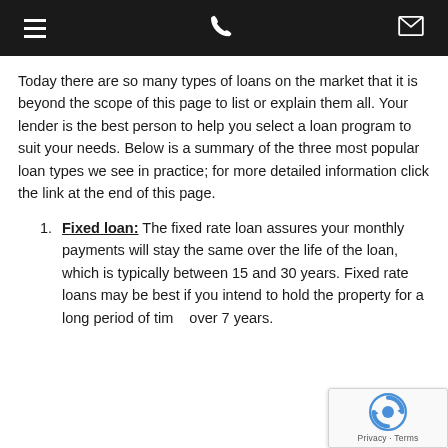[Navigation bar with hamburger menu, phone icon, and envelope icon]
Today there are so many types of loans on the market that it is beyond the scope of this page to list or explain them all. Your lender is the best person to help you select a loan program to suit your needs. Below is a summary of the three most popular loan types we see in practice; for more detailed information click the link at the end of this page.
Fixed loan: The fixed rate loan assures your monthly payments will stay the same over the life of the loan, which is typically between 15 and 30 years. Fixed rate loans may be best if you intend to hold the property for a long period of time, over 7 years.